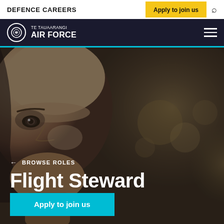DEFENCE CAREERS
Apply to join us
[Figure (logo): Te Tauaarangi Air Force logo — circular emblem with kiwi silhouette beside text 'TE TAUAARANGI' and 'AIR FORCE' in white on dark navy background]
[Figure (photo): Close-up military personnel face, male, looking forward, blurred background with bokeh lights, dark overlay]
← BROWSE ROLES
Flight Steward
Apply to join us